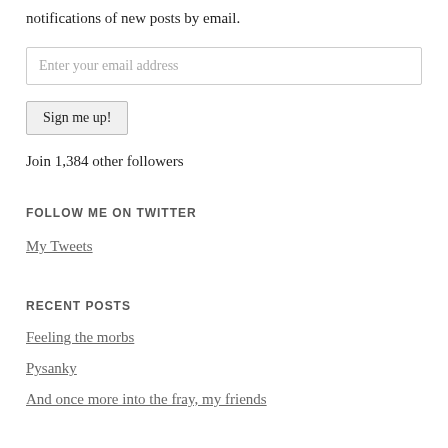notifications of new posts by email.
Enter your email address
Sign me up!
Join 1,384 other followers
FOLLOW ME ON TWITTER
My Tweets
RECENT POSTS
Feeling the morbs
Pysanky
And once more into the fray, my friends